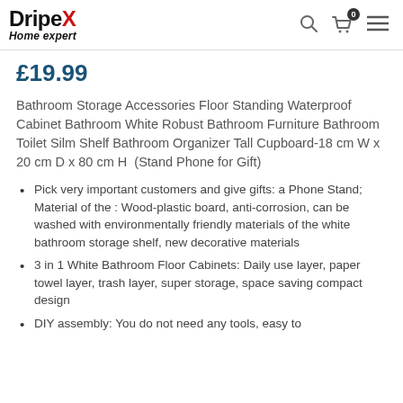DripeX Home expert
£19.99
Bathroom Storage Accessories Floor Standing Waterproof Cabinet Bathroom White Robust Bathroom Furniture Bathroom Toilet Silm Shelf Bathroom Organizer Tall Cupboard-18 cm W x 20 cm D x 80 cm H  (Stand Phone for Gift)
Pick very important customers and give gifts: a Phone Stand; Material of the : Wood-plastic board, anti-corrosion, can be washed with environmentally friendly materials of the white bathroom storage shelf, new decorative materials
3 in 1 White Bathroom Floor Cabinets: Daily use layer, paper towel layer, trash layer, super storage, space saving compact design
DIY assembly: You do not need any tools, easy to